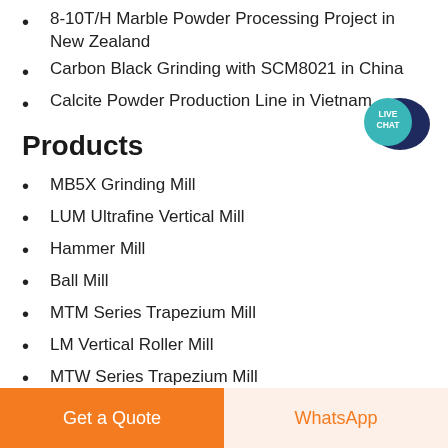8-10T/H Marble Powder Processing Project in New Zealand
Carbon Black Grinding with SCM8021 in China
Calcite Powder Production Line in Vietnam
Products
MB5X Grinding Mill
LUM Ultrafine Vertical Mill
Hammer Mill
Ball Mill
MTM Series Trapezium Mill
LM Vertical Roller Mill
MTW Series Trapezium Mill
[Figure (infographic): LIVE CHAT speech bubble badge in teal/dark blue colors]
Get a Quote
WhatsApp